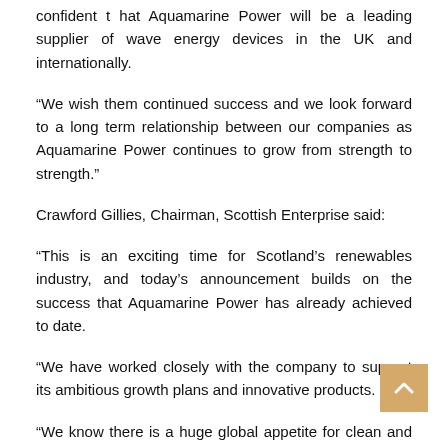confident that Aquamarine Power will be a leading supplier of wave energy devices in the UK and internationally.
“We wish them continued success and we look forward to a long term relationship between our companies as Aquamarine Power continues to grow from strength to strength.”
Crawford Gillies, Chairman, Scottish Enterprise said:
“This is an exciting time for Scotland’s renewables industry, and today’s announcement builds on the success that Aquamarine Power has already achieved to date.
“We have worked closely with the company to support its ambitious growth plans and innovative products.
“We know there is a huge global appetite for clean and sustainable energy and, with companies like Aquamarine